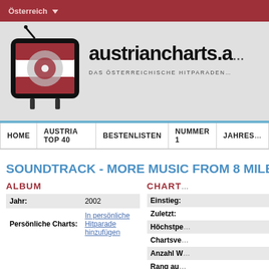Österreich ▼
[Figure (logo): Austriancharts.at website logo with TV graphic and Austrian flag CD]
austriancharts.a... DAS ÖSTERREICHISCHE HITPARADEN...
HOME | AUSTRIA TOP 40 | BESTENLISTEN | NUMMER 1 | JAHRES...
SOUNDTRACK - MORE MUSIC FROM 8 MILE
ALBUM
| Jahr: | 2002 |
| Persönliche Charts: | In persönliche Hitparade hinzufügen |
CHART
| Einstieg: |  |
| Zuletzt: |  |
| Höchstpe... |  |
| Chartsve... |  |
| Anzahl W... |  |
| Rang au... |  |
| Weltweit... |  |